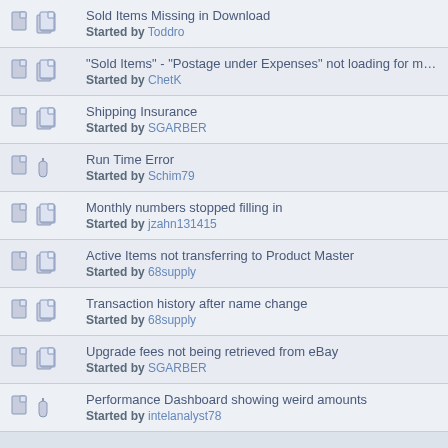Sold Items Missing in Download
Started by Toddro
"Sold Items" - "Postage under Expenses" not loading for multi item
Started by ChetK
Shipping Insurance
Started by SGARBER
Run Time Error
Started by Schim79
Monthly numbers stopped filling in
Started by jzahn131415
Active Items not transferring to Product Master
Started by 68supply
Transaction history after name change
Started by 68supply
Upgrade fees not being retrieved from eBay
Started by SGARBER
Performance Dashboard showing weird amounts
Started by intelanalyst78